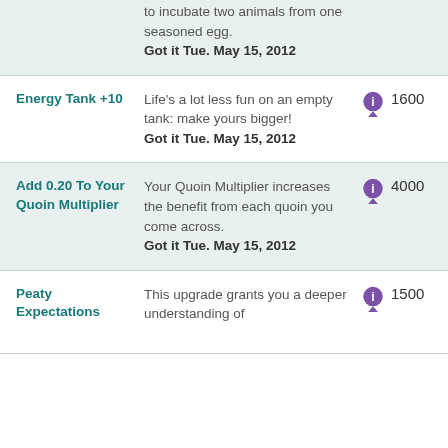to incubate two animals from one seasoned egg. Got it Tue. May 15, 2012
Energy Tank +10 | Life's a lot less fun on an empty tank: make yours bigger! Got it Tue. May 15, 2012 | 1600
Add 0.20 To Your Quoin Multiplier | Your Quoin Multiplier increases the benefit from each quoin you come across. Got it Tue. May 15, 2012 | 4000
Peaty Expectations | This upgrade grants you a deeper understanding of | 1500